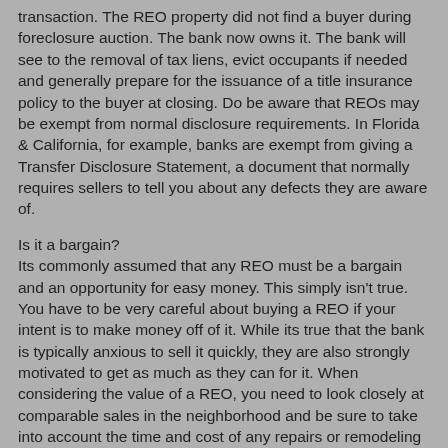transaction. The REO property did not find a buyer during foreclosure auction. The bank now owns it. The bank will see to the removal of tax liens, evict occupants if needed and generally prepare for the issuance of a title insurance policy to the buyer at closing. Do be aware that REOs may be exempt from normal disclosure requirements. In Florida & California, for example, banks are exempt from giving a Transfer Disclosure Statement, a document that normally requires sellers to tell you about any defects they are aware of.
Is it a bargain?
Its commonly assumed that any REO must be a bargain and an opportunity for easy money. This simply isn't true. You have to be very careful about buying a REO if your intent is to make money off of it. While its true that the bank is typically anxious to sell it quickly, they are also strongly motivated to get as much as they can for it. When considering the value of a REO, you need to look closely at comparable sales in the neighborhood and be sure to take into account the time and cost of any repairs or remodeling needed to prepare the house for resale. The bargains with